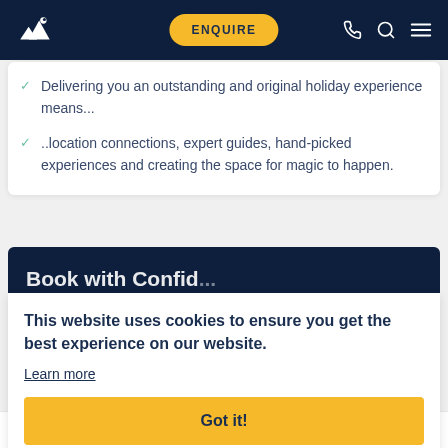ENQUIRE
Delivering you an outstanding and original holiday experience means...
..location connections, expert guides, hand-picked experiences and creating the space for magic to happen.
Book with Confid...
This website uses cookies to ensure you get the best experience on our website.
Learn more
Got it!
you travel.